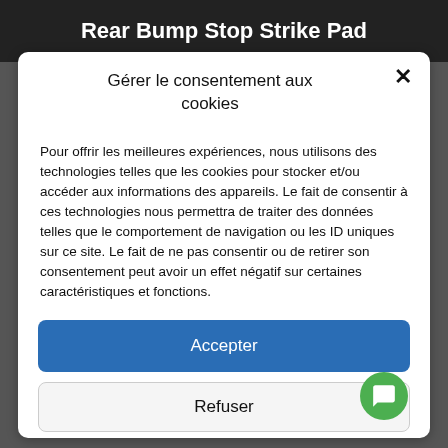Rear Bump Stop Strike Pad
Gérer le consentement aux cookies
Pour offrir les meilleures expériences, nous utilisons des technologies telles que les cookies pour stocker et/ou accéder aux informations des appareils. Le fait de consentir à ces technologies nous permettra de traiter des données telles que le comportement de navigation ou les ID uniques sur ce site. Le fait de ne pas consentir ou de retirer son consentement peut avoir un effet négatif sur certaines caractéristiques et fonctions.
Accepter
Refuser
Voir les préférences
Politique de cookies  Politique de confidentialité